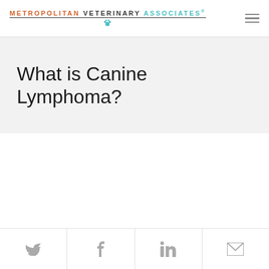METROPOLITAN VETERINARY ASSOCIATES
What is Canine Lymphoma?
Social share icons: Twitter, Facebook, LinkedIn, Email